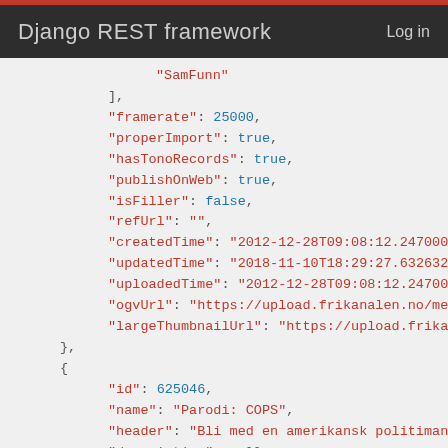Django REST framework  Log in
JSON code block showing API response fields: "SamFunn", framerate: 25000, properImport: true, hasTonoRecords: true, publishOnWeb: true, isFiller: false, refUrl: "", createdTime: "2012-12-28T09:08:12.247000Z", updatedTime: "2018-11-10T18:29:27.632632Z", uploadedTime: "2012-12-28T09:08:12.247000Z", ogvUrl: "https://upload.frikanalen.no/media...", largeThumbnailUrl: "https://upload.frikanal...", }, { id: 625046, name: "Parodi: COPS", header: "Bli med en amerikansk politimann p...", description: null, files: { theora: "https://upload.frikanalen.no/m...", original: "https://upload.frikanalen.no...", smallThumb: "https://upload.frikanalen..."